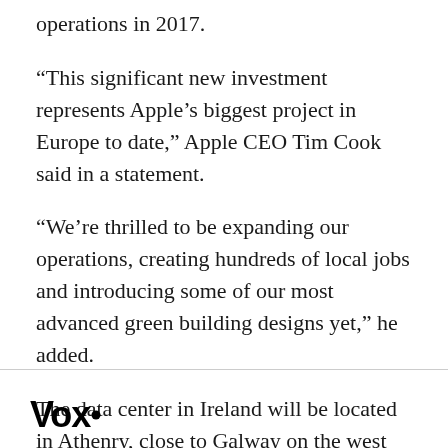operations in 2017.
“This significant new investment represents Apple’s biggest project in Europe to date,” Apple CEO Tim Cook said in a statement.
“We’re thrilled to be expanding our operations, creating hundreds of local jobs and introducing some of our most advanced green building designs yet,” he added.
The data center in Ireland will be located in Athenry, close to Galway on the west coast, and the other will be in Viborg, western Denmark.
[Figure (logo): Vox media logo in bold black text with a stylized dot]